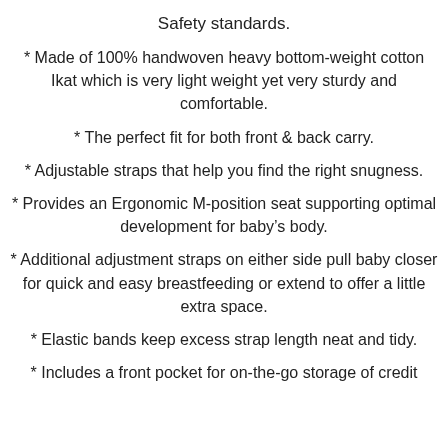Safety standards.
* Made of 100% handwoven heavy bottom-weight cotton Ikat which is very light weight yet very sturdy and comfortable.
* The perfect fit for both front & back carry.
* Adjustable straps that help you find the right snugness.
* Provides an Ergonomic M-position seat supporting optimal development for baby's body.
* Additional adjustment straps on either side pull baby closer for quick and easy breastfeeding or extend to offer a little extra space.
* Elastic bands keep excess strap length neat and tidy.
* Includes a front pocket for on-the-go storage of credit